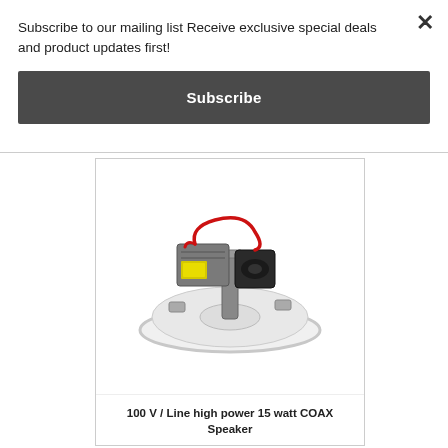Subscribe to our mailing list Receive exclusive special deals and product updates first!
Subscribe
[Figure (photo): 100V line ceiling speaker product photo showing the back/top of a circular white ceiling speaker with visible driver components, transformer, and red wiring.]
100 V / Line high power 15 watt COAX Speaker